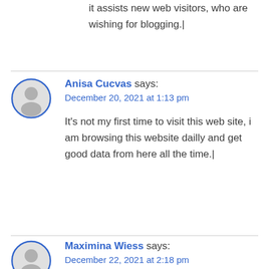it assists new web visitors, who are wishing for blogging.|
Anisa Cucvas says:
December 20, 2021 at 1:13 pm

It's not my first time to visit this web site, i am browsing this website dailly and get good data from here all the time.|
Maximina Wiess says:
December 22, 2021 at 2:18 pm